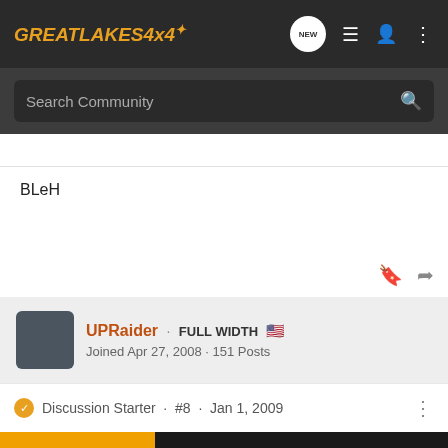[Figure (screenshot): GreatLakes4x4 forum navigation bar with logo, NEW chat bubble, list icon, user icon, and dots menu icon]
[Figure (screenshot): Search Community input bar with magnifier icon]
BLeH
UPRaider · FULL WIDTH 🇺🇸
Joined Apr 27, 2008 · 151 Posts
Discussion Starter · #8 · Jan 1, 2009
[Figure (screenshot): Jon on X Offroad advertisement banner: OFFROAD TRAIL MAPS & GPS, Try for Free]